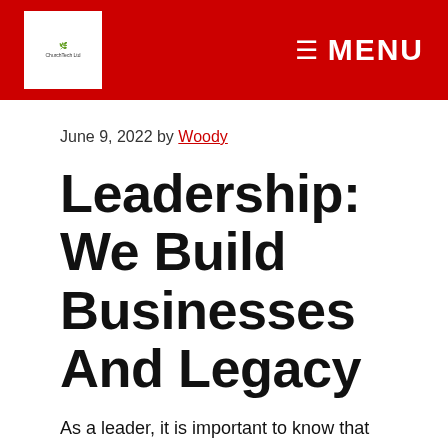≡ MENU
June 9, 2022 by Woody
Leadership: We Build Businesses And Legacy
As a leader, it is important to know that we are not in this alone.
We develop services as well as traditions with the help of those around us.